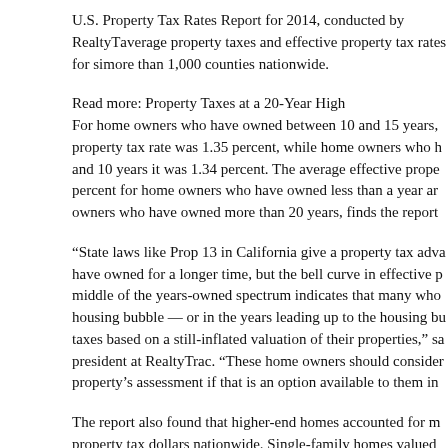U.S. Property Tax Rates Report for 2014, conducted by Realty Trac, average property taxes and effective property tax rates for si more than 1,000 counties nationwide.
Read more: Property Taxes at a 20-Year High
For home owners who have owned between 10 and 15 years, property tax rate was 1.35 percent, while home owners who h and 10 years it was 1.34 percent. The average effective prope percent for home owners who have owned less than a year ar owners who have owned more than 20 years, finds the report.
“State laws like Prop 13 in California give a property tax adva have owned for a longer time, but the bell curve in effective p middle of the years-owned spectrum indicates that many who housing bubble — or in the years leading up to the housing bu taxes based on a still-inflated valuation of their properties,” sa president at RealtyTrac. “These home owners should consider property’s assessment if that is an option available to them in
The report also found that higher-end homes accounted for m property tax dollars nationwide. Single-family homes valued